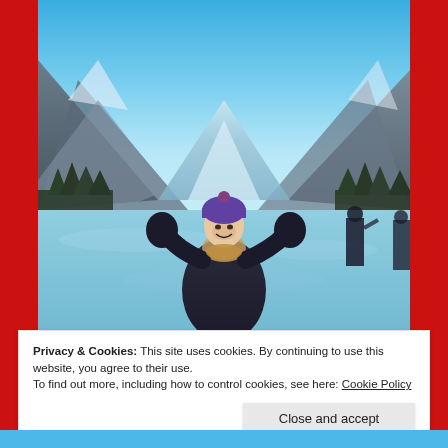[Figure (photo): A woman in a purple beanie and dark winter coat stands on a frozen lake (likely Lake Louise, Canada) with arms raised joyfully. Snow-covered mountains and evergreen forest fill the background under a blue sky. Two other people are visible in the background on the right.]
Privacy & Cookies: This site uses cookies. By continuing to use this website, you agree to their use.
To find out more, including how to control cookies, see here: Cookie Policy
Close and accept